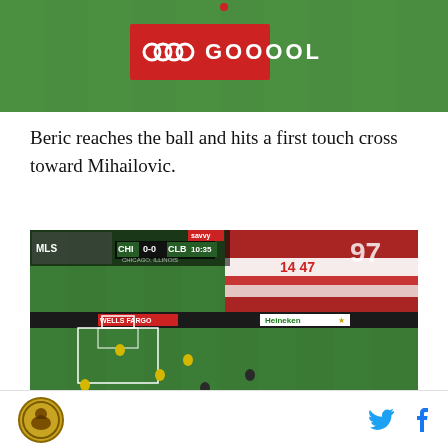[Figure (screenshot): Soccer match broadcast screenshot showing a green field with a GOOOOL graphic overlay in a red badge, with Audi rings branding]
Beric reaches the ball and hits a first touch cross toward Mihailovic.
[Figure (screenshot): Soccer match broadcast screenshot showing CHI 0-0 CLB at 10:35, stadium with red and white banners, players in yellow and dark kits on green field, Heineken advertising board visible]